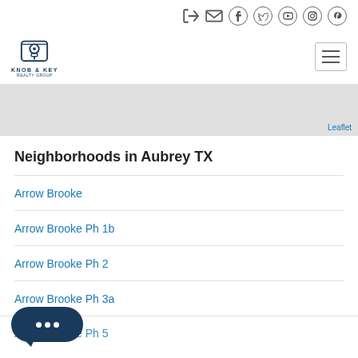Knob & Key — header with logo and navigation icons
[Figure (screenshot): Map area showing a Leaflet map placeholder (grey), with 'Leaflet' link at bottom right]
Neighborhoods in Aubrey TX
Arrow Brooke
Arrow Brooke Ph 1b
Arrow Brooke Ph 2
Arrow Brooke Ph 3a
Arrow Brooke Ph 5